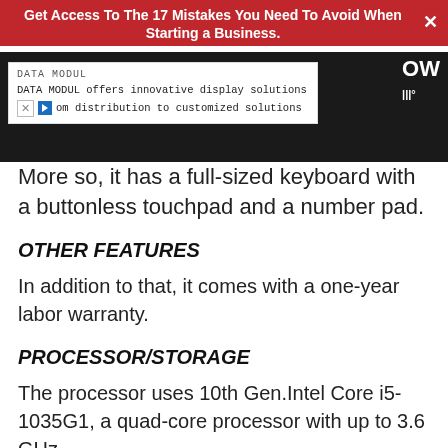Get Access To The 17 Mistakes You Need To Avoid When Starting a Business.
[Figure (screenshot): Advertisement banner from DATA MODUL: 'DATA MODUL offers innovative display solutions from distribution to customized solutions']
More so, it has a full-sized keyboard with a buttonless touchpad and a number pad.
OTHER FEATURES
In addition to that, it comes with a one-year labor warranty.
PROCESSOR/STORAGE
The processor uses 10th Gen.Intel Core i5-1035G1, a quad-core processor with up to 3.6 GHz.